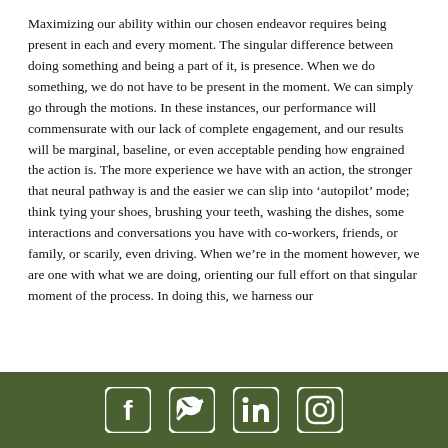Maximizing our ability within our chosen endeavor requires being present in each and every moment. The singular difference between doing something and being a part of it, is presence. When we do something, we do not have to be present in the moment. We can simply go through the motions. In these instances, our performance will commensurate with our lack of complete engagement, and our results will be marginal, baseline, or even acceptable pending how engrained the action is. The more experience we have with an action, the stronger that neural pathway is and the easier we can slip into 'autopilot' mode; think tying your shoes, brushing your teeth, washing the dishes, some interactions and conversations you have with co-workers, friends, or family, or scarily, even driving. When we're in the moment however, we are one with what we are doing, orienting our full effort on that singular moment of the process. In doing this, we harness our
Social media icons: Facebook, Twitter, LinkedIn, Instagram